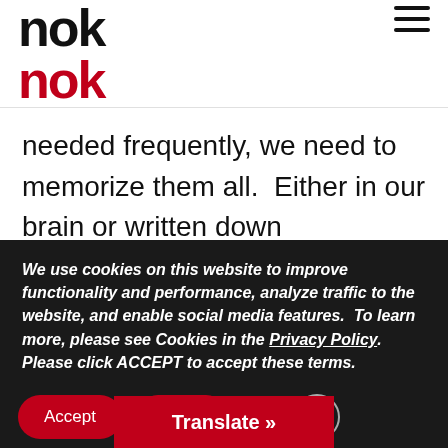nok nok
needed frequently, we need to memorize them all.  Either in our brain or written down somewhere.  Approx. 20% of users utilize password managers [4] for that scenario leaving 80% to either struggle with memory or find a safe place to write them down.
We use cookies on this website to improve functionality and performance, analyze traffic to the website, and enable social media features.  To learn more, please see Cookies in the Privacy Policy.  Please click ACCEPT to accept these terms.